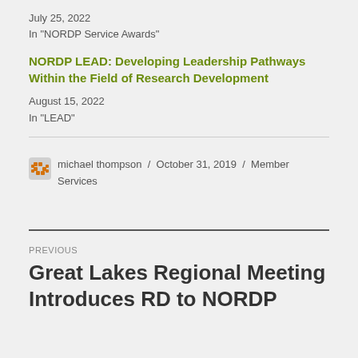July 25, 2022
In "NORDP Service Awards"
NORDP LEAD: Developing Leadership Pathways Within the Field of Research Development
August 15, 2022
In "LEAD"
michael thompson / October 31, 2019 / Member Services
PREVIOUS
Great Lakes Regional Meeting Introduces RD to NORDP